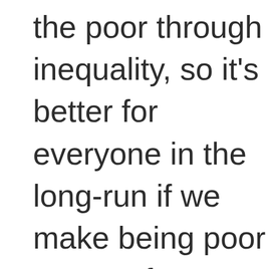the poor through inequality, so it's better for everyone in the long-run if we make being poor a type of